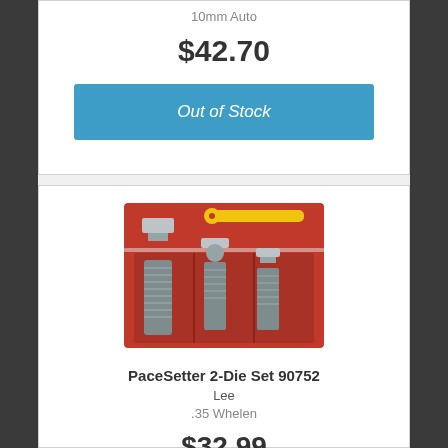10mm Auto
$42.70
Out of Stock
[Figure (photo): Lee PaceSetter 2-Die Set 90752 product photo showing metal reloading dies in a red plastic storage case with a yellow spanner wrench]
PaceSetter 2-Die Set 90752
Lee
.35 Whelen
$32.99